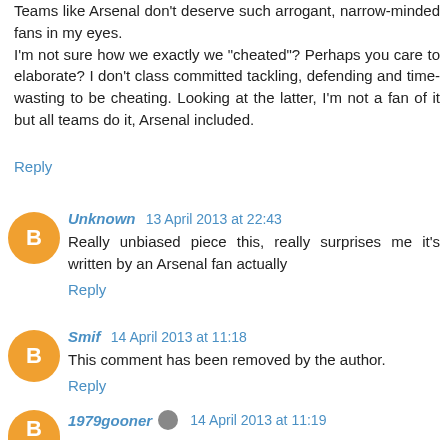Teams like Arsenal don't deserve such arrogant, narrow-minded fans in my eyes. I'm not sure how we exactly we "cheated"? Perhaps you care to elaborate? I don't class committed tackling, defending and time-wasting to be cheating. Looking at the latter, I'm not a fan of it but all teams do it, Arsenal included.
Reply
Unknown  13 April 2013 at 22:43
Really unbiased piece this, really surprises me it's written by an Arsenal fan actually
Reply
Smif  14 April 2013 at 11:18
This comment has been removed by the author.
Reply
1979gooner  14 April 2013 at 11:19